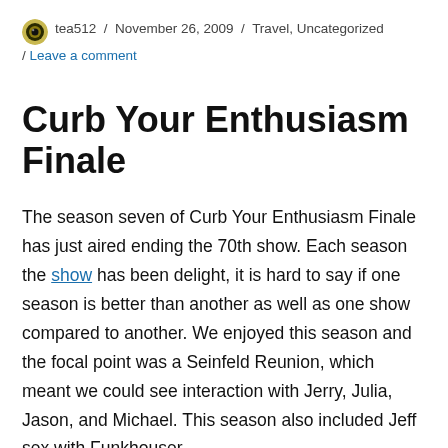tea512 / November 26, 2009 / Travel, Uncategorized / Leave a comment
Curb Your Enthusiasm Finale
The season seven of Curb Your Enthusiasm Finale has just aired ending the 70th show. Each season the show has been delight, it is hard to say if one season is better than another as well as one show compared to another. We enjoyed this season and the focal point was a Seinfeld Reunion, which meant we could see interaction with Jerry, Julia, Jason, and Michael. This season also included Jeff sex with Funkhouser